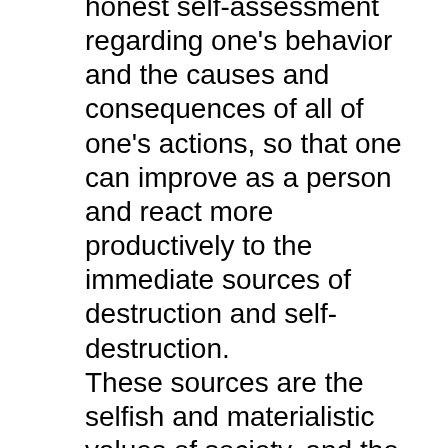honest self-assessment regarding one's behavior and the causes and consequences of all of one's actions, so that one can improve as a person and react more productively to the immediate sources of destruction and self-destruction. These sources are the selfish and materialistic values of society, and the long-term cycle of alienation, apathy, greed, malice and hatred, and the devastation of individuals, communities and society itself, that results from trying to fulfill its goals. The only way to surmount such negativity is to truly care about how one's actions affect oneself, others and the world in general, which consequently separates and elevates one, morally and spiritually, from the inherently destructive impulses that consume the masses.  Granted, that may occasionally provide only a stoical sense of transcendence, but it is a significantly better alternative to making society and its inhabitants even worse. Such personal change and the inner